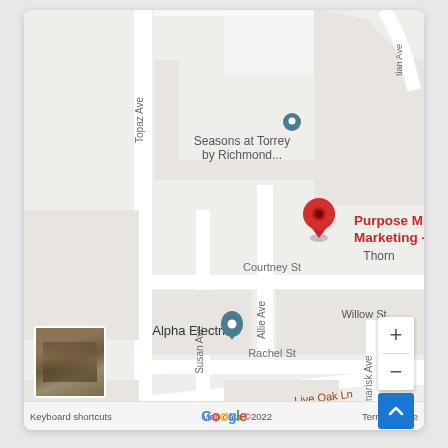[Figure (map): Google Maps screenshot showing a street map of Hesperia area. Features a red location pin labeled 'Purpose Mind Marketing - Hesperia', a teal pin for 'Alpha Electric', a teal pin for 'Seasons at Torrey by Richmond...', and a graduation cap pin for a school. Streets visible include Topaz Ave, Susan Ave, Allie Ave, Courtney St, Rachel St, Live Oak Ln, Quinn Ct, Tamarisk Ave, Willow St, Thorn, and Beech St. Map includes zoom controls (+/-), a street view thumbnail, and Google branding with 'Map data ©2022' and 'Terms of Use' footer.]